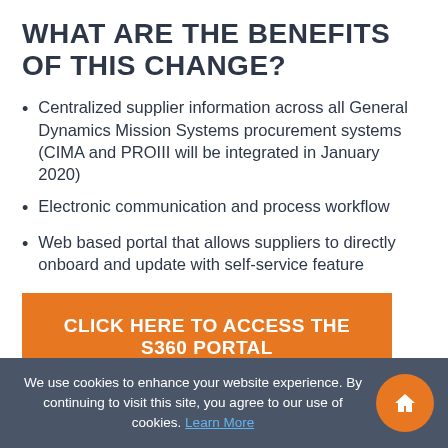WHAT ARE THE BENEFITS OF THIS CHANGE?
Centralized supplier information across all General Dynamics Mission Systems procurement systems (CIMA and PROIII will be integrated in January 2020)
Electronic communication and process workflow
Web based portal that allows suppliers to directly onboard and update with self-service feature
CLICK HERE TO ACCESS THE S360 PORTAL
SUPPLIER ACCOUNT ACTIVATION REQUEST FORM ›
We use cookies to enhance your website experience. By continuing to visit this site, you agree to our use of cookies. Learn More